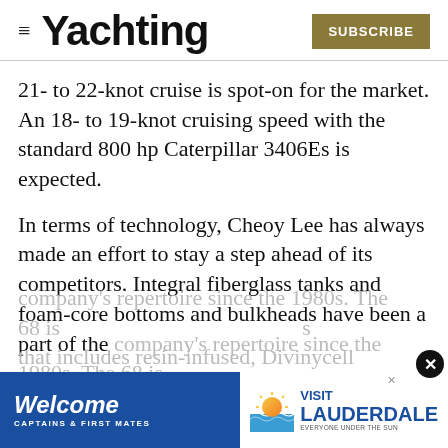≡ Yachting  SUBSCRIBE
21- to 22-knot cruise is spot-on for the market. An 18- to 19-knot cruising speed with the standard 800 hp Caterpillar 3406Es is expected.
In terms of technology, Cheoy Lee has always made an effort to stay a step ahead of its competitors. Integral fiberglass tanks and foam-core bottoms and bulkheads have been a part of the company's repertoire since the 1980s. The 68 is ... that includes resin-infused, Divinycell
[Figure (other): Advertisement banner: Welcome Captains & First Mates / Visit Lauderdale Everyone Under the Sun]